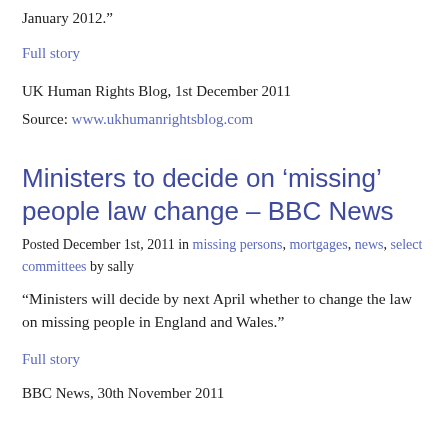January 2012.”
Full story
UK Human Rights Blog, 1st December 2011
Source: www.ukhumanrightsblog.com
Ministers to decide on ‘missing’ people law change – BBC News
Posted December 1st, 2011 in missing persons, mortgages, news, select committees by sally
“Ministers will decide by next April whether to change the law on missing people in England and Wales.”
Full story
BBC News, 30th November 2011